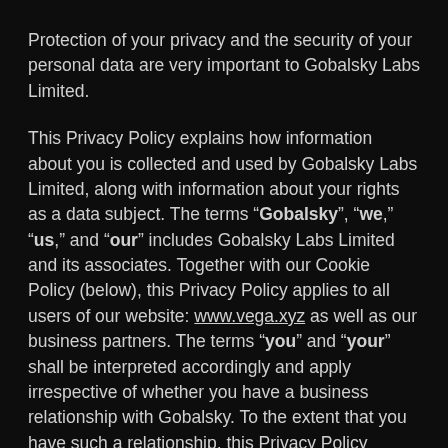Protection of your privacy and the security of your personal data are very important to Gobalsky Labs Limited.
This Privacy Policy explains how information about you is collected and used by Gobalsky Labs Limited, along with information about your rights as a data subject. The terms “Gobalsky”, “we,” “us,” and “our” includes Gobalsky Labs Limited and its associates. Together with our Cookie Policy (below), this Privacy Policy applies to all users of our website: www.vega.xyz as well as our business partners. The terms “you” and “your” shall be interpreted accordingly and apply irrespective of whether you have a business relationship with Gobalsky. To the extent that you have such a relationship, this Privacy Policy applies together with any relevant terms of business and other contractual documents we may have with you.
If you are just browsing, we have designed our website a...